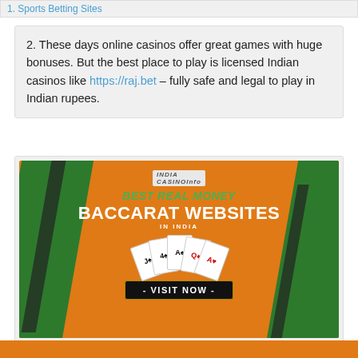1. Sports Betting Sites
2. These days online casinos offer great games with huge bonuses. But the best place to play is licensed Indian casinos like https://raj.bet – fully safe and legal to play in Indian rupees.
[Figure (illustration): India Casino Info banner advertisement for Best Real Money Baccarat Websites in India, with orange and green background, playing cards, and a Visit Now button.]